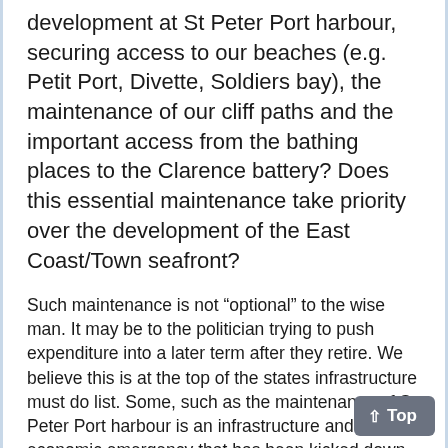development at St Peter Port harbour, securing access to our beaches (e.g. Petit Port, Divette, Soldiers bay), the maintenance of our cliff paths and the important access from the bathing places to the Clarence battery? Does this essential maintenance take priority over the development of the East Coast/Town seafront?
Such maintenance is not “optional” to the wise man. It may be to the politician trying to push expenditure into a later term after they retire. We believe this is at the top of the states infrastructure must do list. Some, such as the maintenance of St Peter Port harbour is an infrastructure and economic emergency that has been kicked down the road